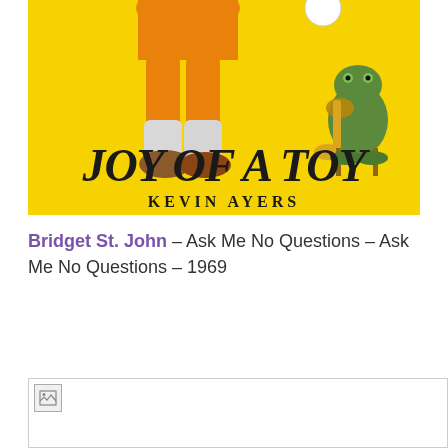[Figure (illustration): Album cover for 'Joy of a Toy' by Kevin Ayers. Yellow background with illustrated boy's legs from below the waist wearing orange shorts and white socks, and a frog playing a tuba seated on a chair. Large decorative text reads 'JOY OF A TOY' and below it 'KEVIN AYERS'.]
Bridget St. John – Ask Me No Questions – Ask Me No Questions – 1969
[Figure (photo): Broken/missing image placeholder with small icon in top-left corner.]